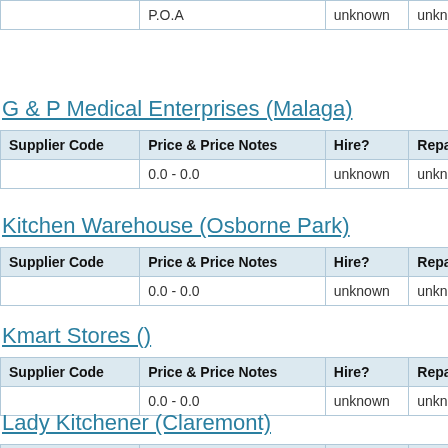| Supplier Code | Price & Price Notes | Hire? | Repa |
| --- | --- | --- | --- |
|  | P.O.A | unknown | unkno |
G & P Medical Enterprises (Malaga)
| Supplier Code | Price & Price Notes | Hire? | Repa |
| --- | --- | --- | --- |
|  | 0.0 - 0.0 | unknown | unkno |
Kitchen Warehouse (Osborne Park)
| Supplier Code | Price & Price Notes | Hire? | Repa |
| --- | --- | --- | --- |
|  | 0.0 - 0.0 | unknown | unkno |
Kmart Stores ()
| Supplier Code | Price & Price Notes | Hire? | Repa |
| --- | --- | --- | --- |
|  | 0.0 - 0.0 | unknown | unkno |
Lady Kitchener (Claremont)
| Supplier Code | Price & Price Notes | Hire? | Repa |
| --- | --- | --- | --- |